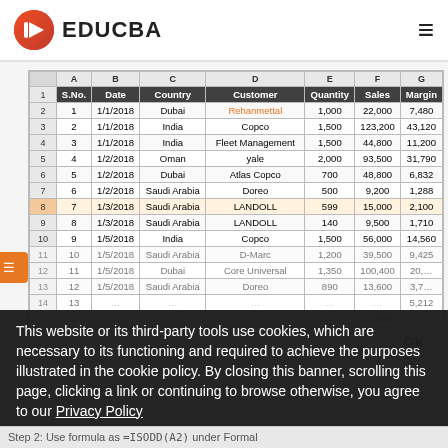EDUCBA
|  | A | B | C | D | E | F | G |
| --- | --- | --- | --- | --- | --- | --- | --- |
| 1 | S.No. | Date | Country | Customer | Quantity | Sales | Margin |
| 2 | 1 | 1/1/2018 | Dubai | Rehanmettal | 1,000 | 22,000 | 7,480 |
| 3 | 2 | 1/1/2018 | India | Copco | 1,500 | 123,200 | 43,120 |
| 4 | 3 | 1/1/2018 | India | Fleet Management | 1,500 | 44,800 | 11,200 |
| 5 | 4 | 1/2/2018 | Oman | yale | 2,000 | 93,500 | 31,790 |
| 6 | 5 | 1/2/2018 | Dubai | Atlas Copco | 700 | 48,800 | 6,832 |
| 7 | 6 | 1/2/2018 | Saudi Arabia | Doreo | 500 | 9,200 | 1,288 |
| 8 | 7 | 1/3/2018 | Saudi Arabia | LANDOLL | 599 | 15,000 | 2,100 |
| 9 | 8 | 1/3/2018 | Saudi Arabia | LANDOLL | 140 | 9,500 | 1,710 |
| 10 | 9 | 1/5/2018 | India | Copco | 1,500 | 56,000 | 14,560 |
| 11 | 10 | 1/5/2018 | Saudi Arabia | D-Marc | 1,200 | 39,500 | 9,425 |
| 12 | 11 | 1/5/2018 | Dubai | Core Universal | 1,350 | 100,400 | 20,… |
| 13 | 12 | 1/5/2018 | Saudi Arabia | Doreo | 890 | 13,600 | 3,7… |
| 14 | 13 | … | … | … | … | … | 5,212 |
| 15 | 14 | … | … | … | … | 58,500 | 21,645 |
This website or its third-party tools use cookies, which are necessary to its functioning and required to achieve the purposes illustrated in the cookie policy. By closing this banner, scrolling this page, clicking a link or continuing to browse otherwise, you agree to our Privacy Policy
Step 2: Use formula as =ISODD(A2) under Formal